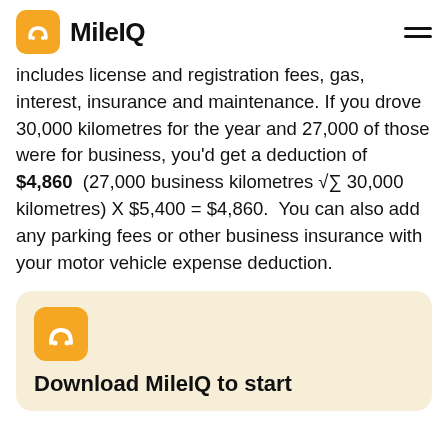MileIQ
includes license and registration fees, gas, interest, insurance and maintenance. If you drove 30,000 kilometres for the year and 27,000 of those were for business, you'd get a deduction of $4,860 (27,000 business kilometres √∑ 30,000 kilometres) X $5,400 = $4,860. You can also add any parking fees or other business insurance with your motor vehicle expense deduction.
Download MileIQ to start